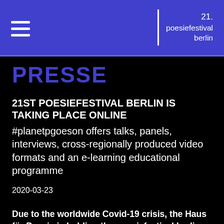21. poesiefestival berlin
PRESSE
21ST POESIEFESTIVAL BERLIN IS TAKING PLACE ONLINE
#planetpgoeson offers talks, panels, interviews, cross-regionally produced video formats and an e-learning educational programme
2020-03-23
Due to the worldwide Covid-19 crisis, the Haus für Poesie is holding the poesiefestival berlin online. We are going to make a virtual offering of all programme items